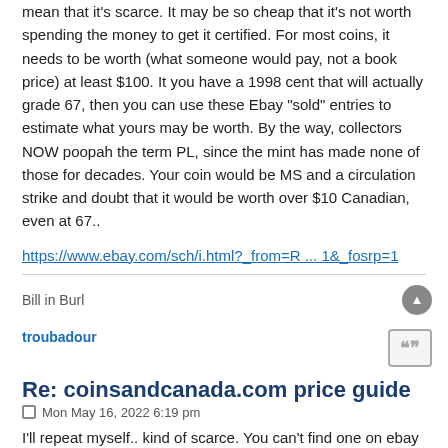mean that it's scarce. It may be so cheap that it's not worth spending the money to get it certified. For most coins, it needs to be worth (what someone would pay, not a book price) at least $100. It you have a 1998 cent that will actually grade 67, then you can use these Ebay "sold" entries to estimate what yours may be worth. By the way, collectors NOW poopah the term PL, since the mint has made none of those for decades. Your coin would be MS and a circulation strike and doubt that it would be worth over $10 Canadian, even at 67..
https://www.ebay.com/sch/i.html?_from=R ... 1&_fosrp=1
Bill in Burl
troubadour
Re: coinsandcanada.com price guide
Mon May 16, 2022 6:19 pm
I'll repeat myself.. kind of scarce. You can't find one on ebay or most on most of the CAN auctioneers archives in the past 10 years. Not enough avalaible/certified for collectors, price is up. Doesn't